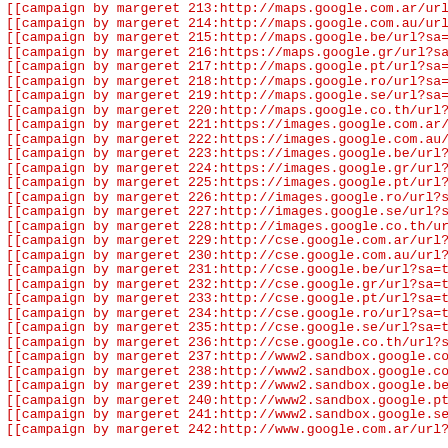[[campaign by margeret 213:http://maps.google.com.ar/url?sa=
[[campaign by margeret 214:http://maps.google.com.au/url?sa=
[[campaign by margeret 215:http://maps.google.be/url?sa=t&u
[[campaign by margeret 216:https://maps.google.gr/url?sa=t&
[[campaign by margeret 217:http://maps.google.pt/url?sa=t&u
[[campaign by margeret 218:http://maps.google.ro/url?sa=t&u
[[campaign by margeret 219:http://maps.google.se/url?sa=t&u
[[campaign by margeret 220:http://maps.google.co.th/url?sa=
[[campaign by margeret 221:https://images.google.com.ar/url
[[campaign by margeret 222:https://images.google.com.au/url
[[campaign by margeret 223:https://images.google.be/url?sa=
[[campaign by margeret 224:https://images.google.gr/url?sa=
[[campaign by margeret 225:https://images.google.pt/url?sa=
[[campaign by margeret 226:http://images.google.ro/url?sa=t
[[campaign by margeret 227:http://images.google.se/url?sa=t
[[campaign by margeret 228:http://images.google.co.th/url?s
[[campaign by margeret 229:http://cse.google.com.ar/url?sa=
[[campaign by margeret 230:http://cse.google.com.au/url?sa=
[[campaign by margeret 231:http://cse.google.be/url?sa=t&ur
[[campaign by margeret 232:http://cse.google.gr/url?sa=t&ur
[[campaign by margeret 233:http://cse.google.pt/url?sa=t&ur
[[campaign by margeret 234:http://cse.google.ro/url?sa=t&ur
[[campaign by margeret 235:http://cse.google.se/url?sa=t&ur
[[campaign by margeret 236:http://cse.google.co.th/url?sa=t
[[campaign by margeret 237:http://www2.sandbox.google.com.a
[[campaign by margeret 238:http://www2.sandbox.google.com.a
[[campaign by margeret 239:http://www2.sandbox.google.be/ur
[[campaign by margeret 240:http://www2.sandbox.google.pt/ur
[[campaign by margeret 241:http://www2.sandbox.google.se/ur
[[campaign by margeret 242:http://www.google.com.ar/url?o